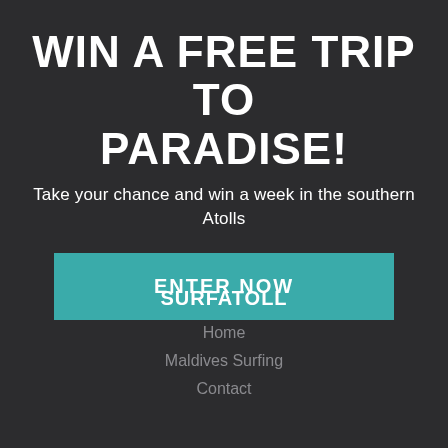WIN A FREE TRIP TO PARADISE!
Take your chance and win a week in the southern Atolls
[Figure (other): Teal 'ENTER NOW' button]
SURFATOLL
Home
Maldives Surfing
Contact